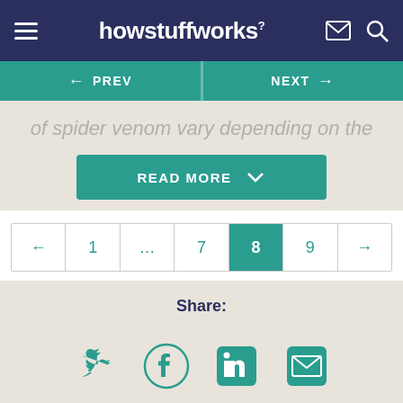howstuffworks
← PREV   NEXT →
of spider venom vary depending on the
READ MORE
← 1 … 7 8 9 →
Share:
[Figure (illustration): Social share icons: Twitter, Facebook, LinkedIn, Email]
Get the HowStuffWorks Newsletter!
Sign Up